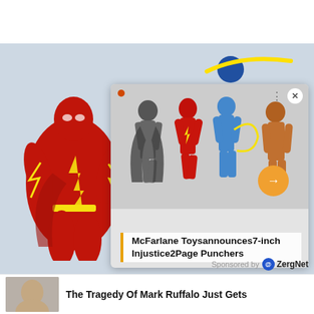[Figure (screenshot): Screenshot of a webpage showing a The Flash action figure on the left and a popup card overlay showing McFarlane Toys Injustice 2 action figures (Batman, Flash, Blue Beetle, and another character) with a caption reading 'McFarlane Toysannounces7-inch Injustice2Page Punchers' and an orange arrow navigation button. Below is a 'FROM THE WEB' section with 'Sponsored by ZergNet' and a teaser for an article about Mark Ruffalo.]
McFarlane Toysannounces7-inch Injustice2Page Punchers
FROM THE WEB
Sponsored by ZergNet
The Tragedy Of Mark Ruffalo Just Gets